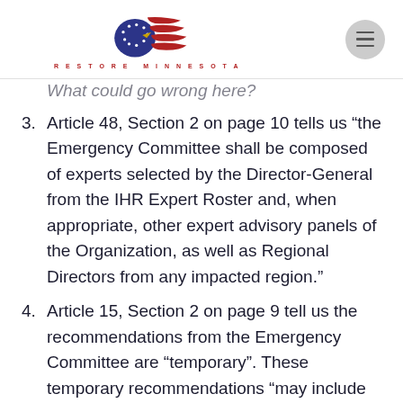RESTORE MINNESOTA
What could go wrong here?
Article 48, Section 2 on page 10 tells us “the Emergency Committee shall be composed of experts selected by the Director-General from the IHR Expert Roster and, when appropriate, other expert advisory panels of the Organization, as well as Regional Directors from any impacted region.”
Article 15, Section 2 on page 9 tell us the recommendations from the Emergency Committee are “temporary”. These temporary recommendations “may include the deployment of expert teams as well as health measures to be implemented” in the affected area(s). There is no definition to the word